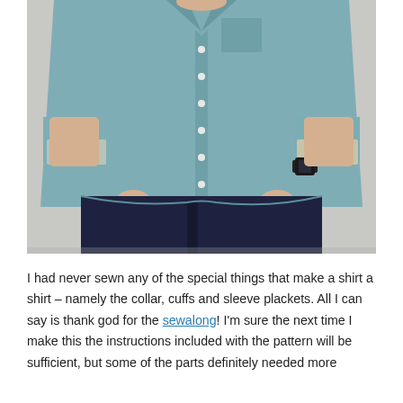[Figure (photo): A person wearing a light teal/blue button-up shirt with rolled-up cuffs and dark navy jeans, standing against a light grey background. The person is holding the sides of the shirt hem with both hands. A watch is visible on the right wrist.]
I had never sewn any of the special things that make a shirt a shirt – namely the collar, cuffs and sleeve plackets. All I can say is thank god for the sewalong! I'm sure the next time I make this the instructions included with the pattern will be sufficient, but some of the parts definitely needed more